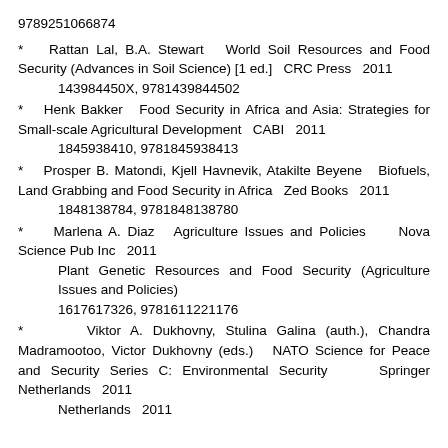9789251066874
* Rattan Lal, B.A. Stewart  World Soil Resources and Food Security (Advances in Soil Science) [1 ed.]  CRC Press  2011
        143984450X, 9781439844502
* Henk Bakker  Food Security in Africa and Asia: Strategies for Small-scale Agricultural Development  CABI  2011
        1845938410, 9781845938413
* Prosper B. Matondi, Kjell Havnevik, Atakilte Beyene  Biofuels, Land Grabbing and Food Security in Africa  Zed Books  2011
        1848138784, 9781848138780
* Marlena A. Diaz  Agriculture Issues and Policies  Nova Science Pub Inc  2011
        Plant Genetic Resources and Food Security (Agriculture Issues and Policies)
        1617617326, 9781611221176
* Viktor A. Dukhovny, Stulina Galina (auth.), Chandra Madramootoo, Victor Dukhovny (eds.)  NATO Science for Peace and Security Series C: Environmental Security  Springer Netherlands  2011